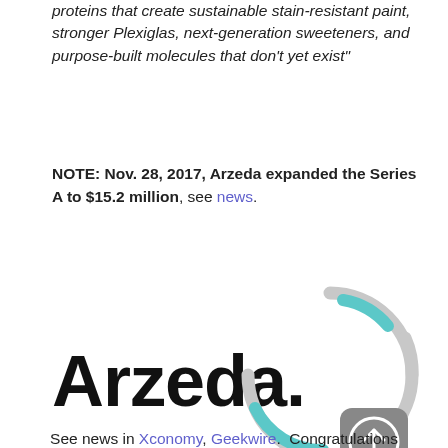proteins that create sustainable stain-resistant paint, stronger Plexiglas, next-generation sweeteners, and purpose-built molecules that don't yet exist"
NOTE: Nov. 28, 2017, Arzeda expanded the Series A to $15.2 million, see news.
[Figure (logo): Arzeda company logo with circular arc design in grey and teal/cyan colors alongside bold black wordmark 'Arzeda.' and an upward arrow icon]
See news in Xconomy, Geekwire.  Congratulations